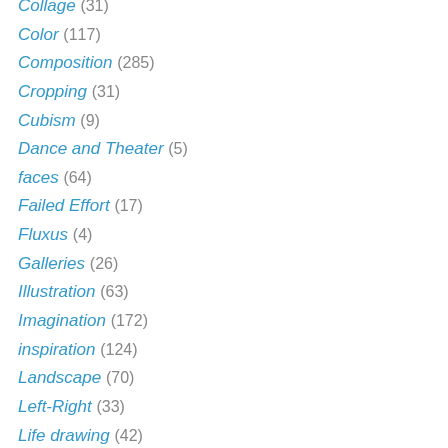Collage (31)
Color (117)
Composition (285)
Cropping (31)
Cubism (9)
Dance and Theater (5)
faces (64)
Failed Effort (17)
Fluxus (4)
Galleries (26)
Illustration (63)
Imagination (172)
inspiration (124)
Landscape (70)
Left-Right (33)
Life drawing (42)
literalness (97)
Master drawings (23)
Negative space (82)
Pattern (5)